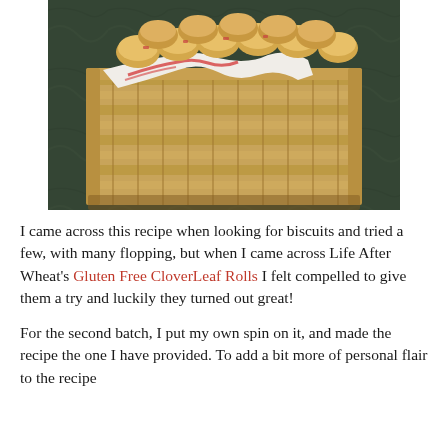[Figure (photo): A wicker basket filled with golden baked rolls or biscuits, lined with a white cloth with red stripes, sitting on a dark green marble surface.]
I came across this recipe when looking for biscuits and tried a few, with many flopping, but when I came across Life After Wheat's Gluten Free CloverLeaf Rolls I felt compelled to give them a try and luckily they turned out great!
For the second batch, I put my own spin on it, and made the recipe the one I have provided. To add a bit more of personal flair to the recipe